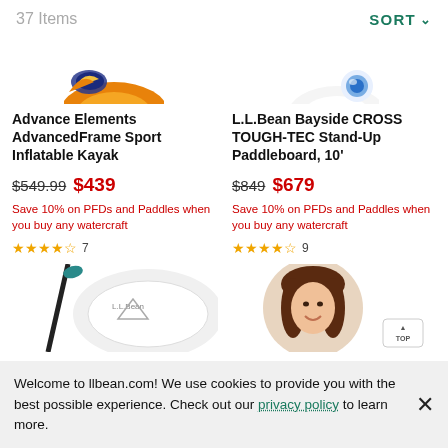37 Items   SORT
[Figure (photo): Partially visible inflatable kayak product image, orange and blue colors, cropped at top]
[Figure (photo): Partially visible white paddleboard with blue accent, cropped at top]
Advance Elements AdvancedFrame Sport Inflatable Kayak
L.L.Bean Bayside CROSS TOUGH-TEC Stand-Up Paddleboard, 10'
$549.99 $439
$849 $679
Save 10% on PFDs and Paddles when you buy any watercraft
Save 10% on PFDs and Paddles when you buy any watercraft
★★★★½ 7
★★★★½ 9
[Figure (photo): Bottom partial image: paddle and paddleboard with L.L.Bean logo]
[Figure (photo): Bottom partial image: woman with brown hair smiling, circular crop, TOP button visible]
Welcome to llbean.com! We use cookies to provide you with the best possible experience. Check out our privacy policy to learn more.